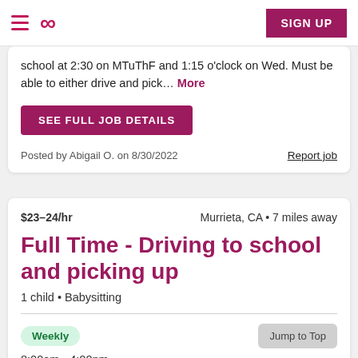Navigation bar with hamburger menu, infinity logo, and SIGN UP button
school at 2:30 on MTuThF and 1:15 o'clock on Wed. Must be able to either drive and pick... More
SEE FULL JOB DETAILS
Posted by Abigail O. on 8/30/2022
Report job
$23–24/hr
Murrieta, CA • 7 miles away
Full Time - Driving to school and picking up
1 child • Babysitting
Weekly
Jump to Top
8:00am - 4:00pm